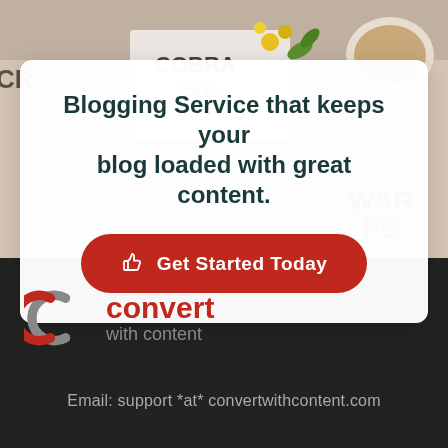[Figure (photo): Background photo of a desk scene with coffee, notebook, flowers and text elements visible]
Blogging Service that keeps your blog loaded with great content.
Get Started Today
[Figure (logo): Convert With Content logo — two interlocking C shapes in red and gray, with red text 'convert' and gray text 'with content']
Email: support *at* convertwithcontent.com